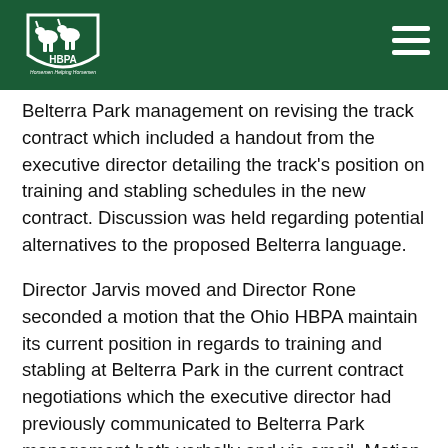HBPA — Horsemen Helping Horsemen
Belterra Park management on revising the track contract which included a handout from the executive director detailing the track's position on training and stabling schedules in the new contract. Discussion was held regarding potential alternatives to the proposed Belterra language.
Director Jarvis moved and Director Rone seconded a motion that the Ohio HBPA maintain its current position in regards to training and stabling at Belterra Park in the current contract negotiations which the executive director had previously communicated to Belterra Park management both verbally and via email. Motion passed.
The executive director updated the board on the